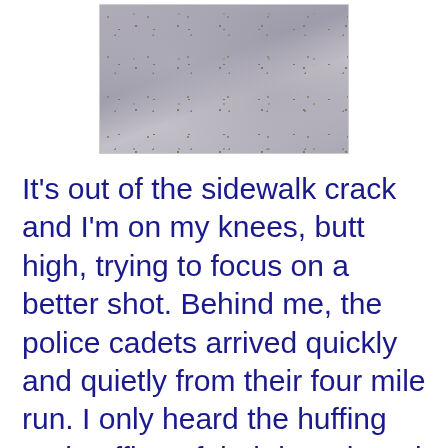[Figure (photo): Photograph of a concrete or asphalt surface (sidewalk/ground texture), gray and grainy in appearance.]
It’s out of the sidewalk crack and I’m on my knees, butt high, trying to focus on a better shot. Behind me, the police cadets arrived quickly and quietly from their four mile run. I only heard the huffing and puffing of their breath and their shoes on the parking lot as they grouped in formation within a few seconds. Did they need to see me in such a